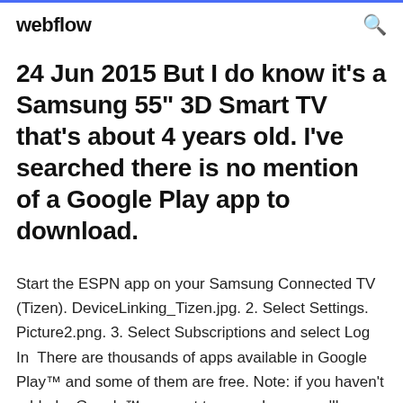webflow
24 Jun 2015 But I do know it's a Samsung 55" 3D Smart TV that's about 4 years old. I've searched there is no mention of a Google Play app to download.
Start the ESPN app on your Samsung Connected TV (Tizen). DeviceLinking_Tizen.jpg. 2. Select Settings. Picture2.png. 3. Select Subscriptions and select Log In  There are thousands of apps available in Google Play™ and some of them are free. Note: if you haven't added a Google™ account to your phone, you'll